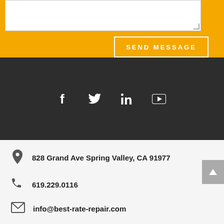SEND MESSAGE
[Figure (infographic): Social media icons: Facebook, Twitter, LinkedIn, YouTube on dark background]
828 Grand Ave Spring Valley, CA 91977
619.229.0116
info@best-rate-repair.com